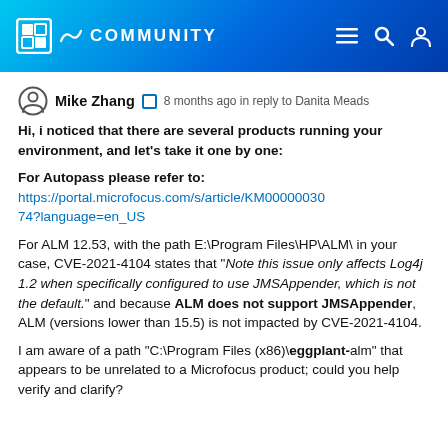Micro Focus Community
Mike Zhang · 8 months ago in reply to Danita Meads
Hi, i noticed that there are several products running your environment, and let's take it one by one:
For Autopass please refer to: https://portal.microfocus.com/s/article/KM00000030 74?language=en_US
For ALM 12.53, with the path E:\Program Files\HP\ALM\ in your case, CVE-2021-4104 states that "Note this issue only affects Log4j 1.2 when specifically configured to use JMSAppender, which is not the default." and because ALM does not support JMSAppender, ALM (versions lower than 15.5) is not impacted by CVE-2021-4104.
I am aware of a path "C:\Program Files (x86)\eggplant-alm" that appears to be unrelated to a Microfocus product; could you help verify and clarify?